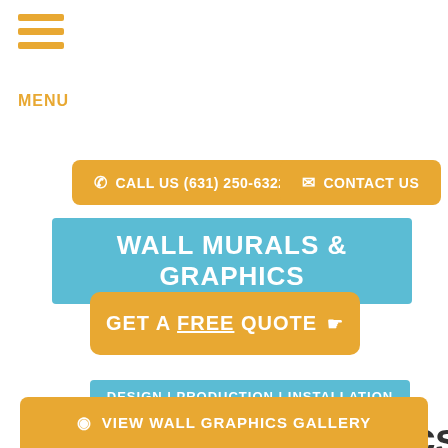MENU
CALL US (631) 250-6322
CONTACT US
WALL MURALS & GRAPHICS
GET A FREE QUOTE
DESIGN | PRODUCTION | INSTALLATION
Bellport Wall Graphics
VIEW WALL GRAPHICS GALLERY